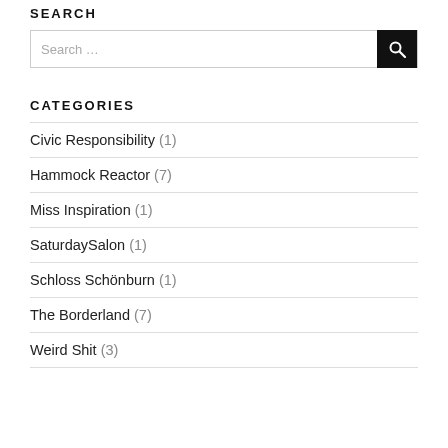SEARCH
[Figure (screenshot): Search input box with placeholder text 'Search …' and a black search button with magnifying glass icon]
CATEGORIES
Civic Responsibility (1)
Hammock Reactor (7)
Miss Inspiration (1)
SaturdaySalon (1)
Schloss Schönburn (1)
The Borderland (7)
Weird Shit (3)